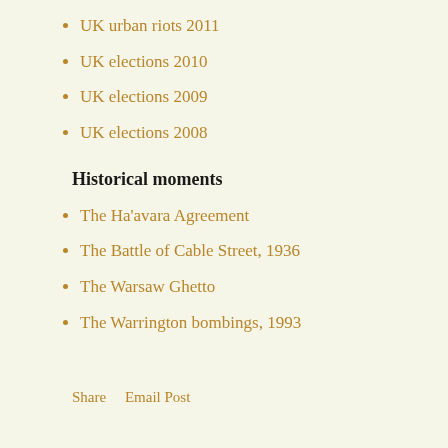UK urban riots 2011
UK elections 2010
UK elections 2009
UK elections 2008
Historical moments
The Ha'avara Agreement
The Battle of Cable Street, 1936
The Warsaw Ghetto
The Warrington bombings, 1993
Share    Email Post
COMMENTS
POST A COMMENT